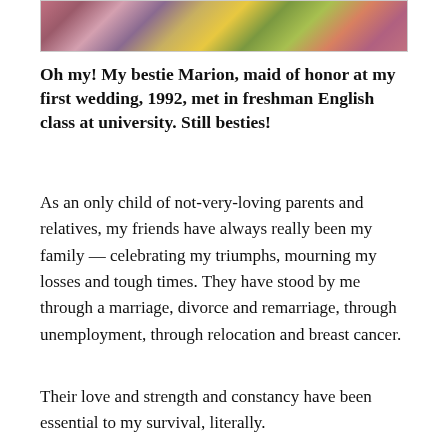[Figure (photo): Partial photo showing floral fabric pattern with pink, yellow, and green flowers visible at top of page]
Oh my! My bestie Marion, maid of honor at my first wedding, 1992, met in freshman English class at university. Still besties!
As an only child of not-very-loving parents and relatives, my friends have always really been my family — celebrating my triumphs, mourning my losses and tough times. They have stood by me through a marriage, divorce and remarriage, through unemployment, through relocation and breast cancer.
Their love and strength and constancy have been essential to my survival, literally.